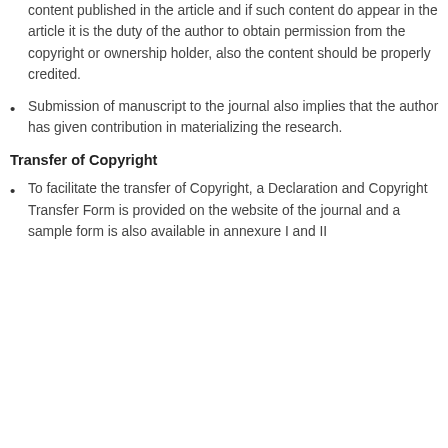content published in the article and if such content do appear in the article it is the duty of the author to obtain permission from the copyright or ownership holder, also the content should be properly credited.
Submission of manuscript to the journal also implies that the author has given contribution in materializing the research.
Transfer of Copyright
To facilitate the transfer of Copyright, a Declaration and Copyright Transfer Form is provided on the website of the journal and a sample form is also available in annexure I and II